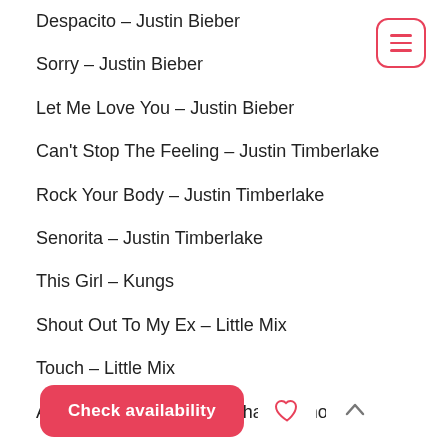Despacito – Justin Bieber
Sorry – Justin Bieber
Let Me Love You – Justin Bieber
Can't Stop The Feeling – Justin Timberlake
Rock Your Body – Justin Timberlake
Senorita – Justin Timberlake
This Girl – Kungs
Shout Out To My Ex – Little Mix
Touch – Little Mix
All About That Bass– Meghan Trainor
Like I'm …eg …nc